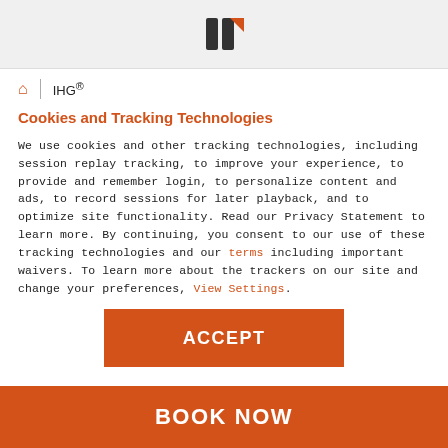[Figure (logo): IHG logo partial view at top of page]
IHG®
Cookies and Tracking Technologies
We use cookies and other tracking technologies, including session replay tracking, to improve your experience, to provide and remember login, to personalize content and ads, to record sessions for later playback, and to optimize site functionality. Read our Privacy Statement to learn more. By continuing, you consent to our use of these tracking technologies and our terms including important waivers. To learn more about the trackers on our site and change your preferences, View Settings.
[Figure (other): ACCEPT button — orange rectangle with white bold text]
BOOK NOW